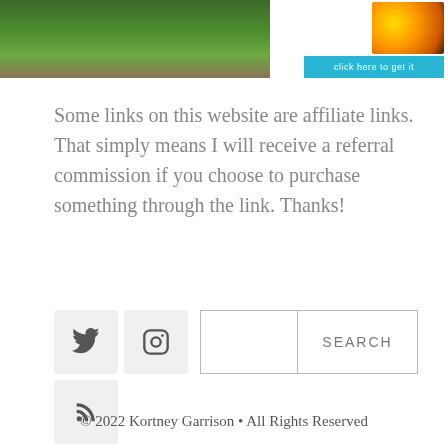[Figure (photo): Top-left: partial photo of plants/garden scene. Top-right: small thumbnail of colorful items with a cyan 'click here to get it' button.]
Some links on this website are affiliate links. That simply means I will receive a referral commission if you choose to purchase something through the link. Thanks!
[Figure (other): Social media icons (Twitter, Instagram, RSS) and a search bar with SEARCH button]
© 2022 Kortney Garrison • All Rights Reserved